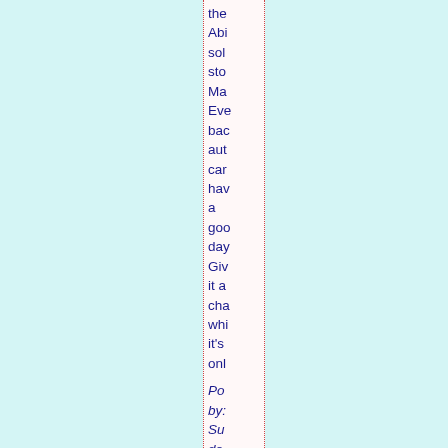the Abi sol sto Ma Eve bac aut car hav a goo day Giv it a cha whi it's onl
Po by: Su de Gu l